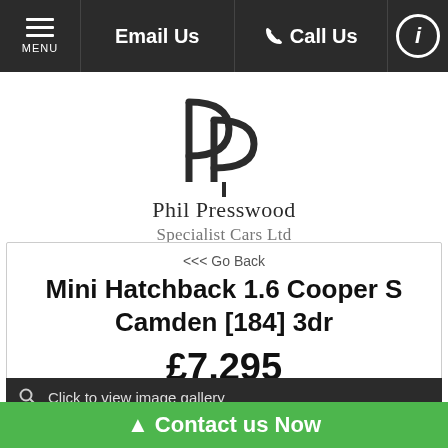MENU | Email Us | Call Us | i
[Figure (logo): Phil Presswood Specialist Cars Ltd logo with interlocking PP letters]
Phil Presswood
Specialist Cars Ltd
<<< Go Back
Mini Hatchback 1.6 Cooper S Camden [184] 3dr
£7,295
Click to view image gallery
▲ Contact us Now